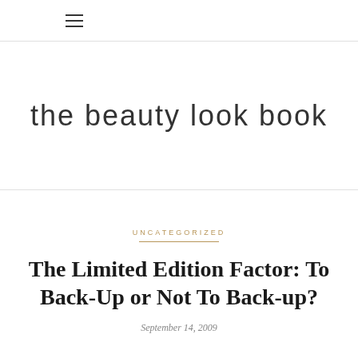the beauty look book
UNCATEGORIZED
The Limited Edition Factor: To Back-Up or Not To Back-up?
September 14, 2009